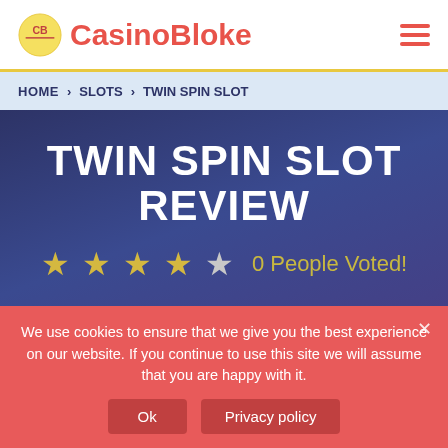CasinoBloke
HOME > SLOTS > TWIN SPIN SLOT
TWIN SPIN SLOT REVIEW
★★★★★ 0 People Voted!
Twin Spin Slot is a NetEnt slot launched in 2013. The game houses 5 reels and
We use cookies to ensure that we give you the best experience on our website. If you continue to use this site we will assume that you are happy with it.
Ok    Privacy policy